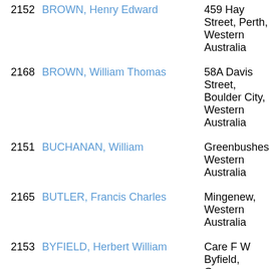2152 BROWN, Henry Edward — 459 Hay Street, Perth, Western Australia
2168 BROWN, William Thomas — 58A Davis Street, Boulder City, Western Australia
2151 BUCHANAN, William — Greenbushes, Western Australia
2165 BUTLER, Francis Charles — Mingenew, Western Australia
2153 BYFIELD, Herbert William — Care F W Byfield, Gregory Street, Northam, Western Australia
2167 BYRON, William — Roebourne, Western Australia
2169 CAMPBELL, Colin Raymond — Bowgada via Wongan Hills